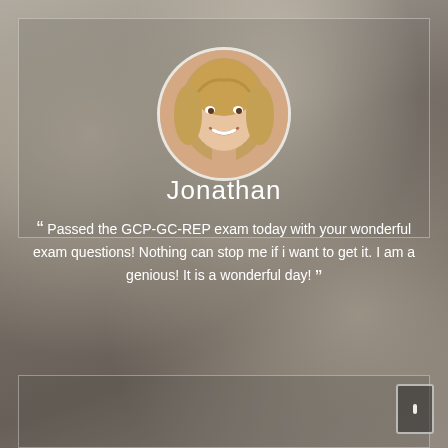[Figure (photo): Blurred background image of a laptop and hands on a desk, with two testimonial cards overlaid. Top card shows a smiling young woman in a circular avatar, name 'Jonathan', and a testimonial quote about passing GCP-GC-REP exam. Bottom card partially visible with a man's circular avatar photo.]
Jonathan
“ Passed the GCP-GC-REP exam today with your wonderful exam questions! Nothing can stop me if i want to get it. I am a genious! It is a wonderful day! ”